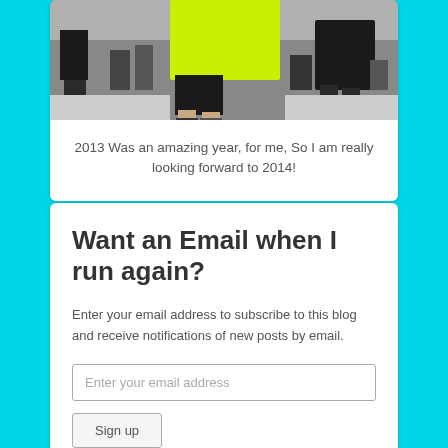[Figure (photo): Runners in a road race, one wearing a bright neon yellow/green shirt, shown from waist down]
2013 Was an amazing year, for me, So I am really looking forward to 2014!
Want an Email when I run again?
Enter your email address to subscribe to this blog and receive notifications of new posts by email.
Enter your email address
Sign up